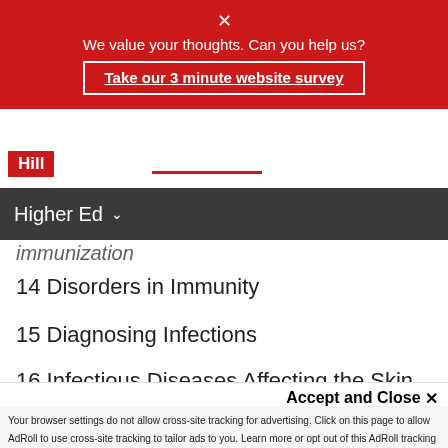[Figure (screenshot): Red survey banner with close X, text 'We value your thoughts. Can you help us?' and link 'Take our 3 minute website survey']
[Figure (logo): The Hill logo in red box with red underline decoration]
Higher Ed
immunization
14 Disorders in Immunity
15 Diagnosing Infections
16 Infectious Diseases Affecting the Skin and Eyes
By clicking “Accept All”, you agree to the storing of cookies on your device to enhance site navigation, analyze site usage, and assist in our marketing efforts.
Accept and Close ×
Your browser settings do not allow cross-site tracking for advertising. Click on this page to allow AdRoll to use cross-site tracking to tailor ads to you. Learn more or opt out of this AdRoll tracking by clicking here. This message only appears once.